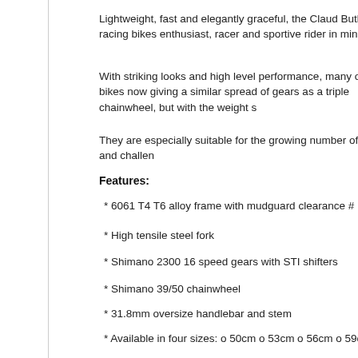Lightweight, fast and elegantly graceful, the Claud Butler road racing bikes enthusiast, racer and sportive rider in mind.
With striking looks and high level performance, many of the road bikes now giving a similar spread of gears as a triple chainwheel, but with the weight s
They are especially suitable for the growing number of sportive and challen
Features:
* 6061 T4 T6 alloy frame with mudguard clearance #
* High tensile steel fork
* Shimano 2300 16 speed gears with STI shifters
* Shimano 39/50 chainwheel
* 31.8mm oversize handlebar and stem
* Available in four sizes: o 50cm o 53cm o 56cm o 59cm
Detailed Specifications:
Frame 6061 T4 T6 Aluminium
Fork Steel rigid
Rear Gear Shimano 2300 Freewheel 8 speed cassette 12-26